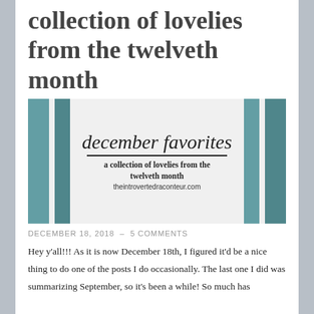collection of lovelies from the twelveth month
[Figure (illustration): Decorative blog post header image with teal vertical bars on left and right sides, centered text reading 'december favorites' in cursive script, 'a collection of lovelies from the twelveth month' in bold, and 'theintrovertedraconteur.com' below.]
DECEMBER 18, 2018 – 5 COMMENTS
Hey y'all!!! As it is now December 18th, I figured it'd be a nice thing to do one of the posts I do occasionally. The last one I did was summarizing September, so it's been a while! So much has